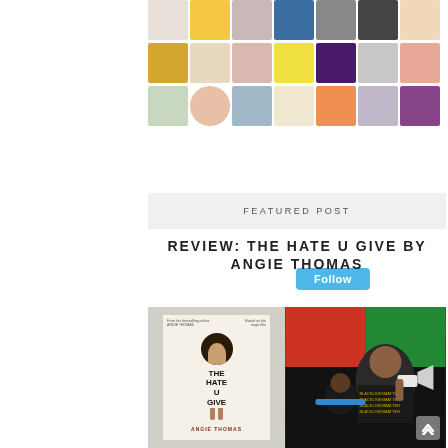[Figure (photo): Grid of avatar/profile photos arranged in 3 rows of 7 columns with a Follow button below]
Follow
FEATURED POST
REVIEW: THE HATE U GIVE BY ANGIE THOMAS
[Figure (photo): Featured image showing the book cover of 'The Hate U Give' by Angie Thomas alongside a protest photo with a man in a Black Lives Matter shirt]